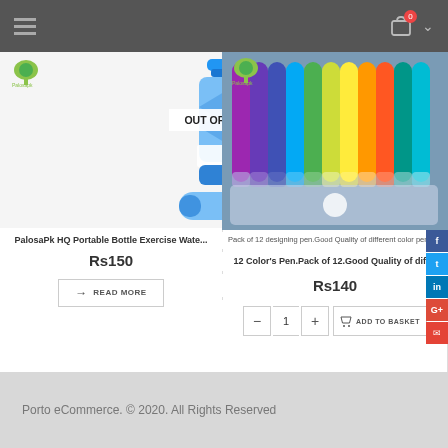Header navigation with hamburger menu and cart (0 items)
[Figure (photo): Blue portable water bottle with OUT OF STOCK overlay and second bottle below, with Palosapk logo top-left]
PalosaPk HQ Portable Bottle Exercise Wate...
Rs150
READ MORE
[Figure (photo): Pack of 12 colorful marker/designing pens with Palosapk logo top-left]
Pack of 12 designing pen.Good Quality of different color pen
12 Color's Pen.Pack of 12.Good Quality of diff...
Rs140
ADD TO BASKET
Porto eCommerce. © 2020. All Rights Reserved